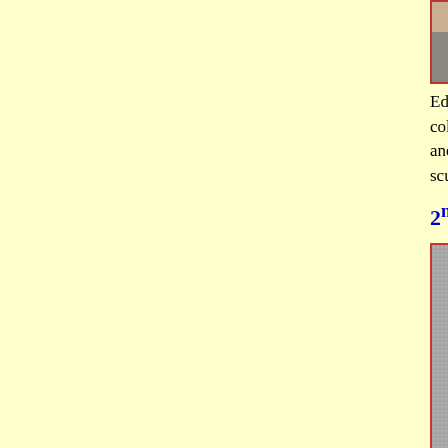[Figure (illustration): Partial view of a comic book style illustration at the top, cropped, showing a character in action.]
Edward wins an original Frankenstein color signed print of the page, a signed and a Frankenstein Mobster bust, signed sculptor Shawn Nagle.
2nd PLACE W
[Figure (illustration): Black and white drawing of a muscular villain/monster character with flowing hair and a menacing expression, wearing a striped costume.]
Tommy Cole
Saline, MI
[Figure (illustration): Colored illustration of a lion-like armored character with yellow mane, wearing red and gray armor with decorative details.]
Ryan Vogler
Timonium, M